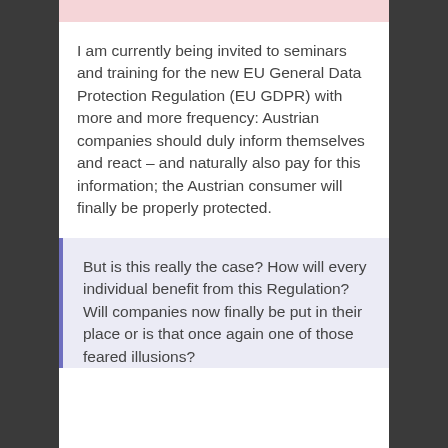I am currently being invited to seminars and training for the new EU General Data Protection Regulation (EU GDPR) with more and more frequency: Austrian companies should duly inform themselves and react – and naturally also pay for this information; the Austrian consumer will finally be properly protected.
But is this really the case? How will every individual benefit from this Regulation? Will companies now finally be put in their place or is that once again one of those feared illusions?